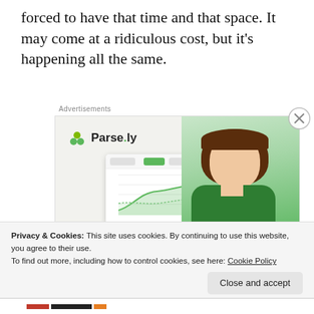forced to have that time and that space. It may come at a ridiculous cost, but it's happening all the same.
[Figure (screenshot): Parse.ly advertisement banner showing 'Content Analytics Made Easy' with a photo of a woman in a green sweater and a dashboard mockup]
Privacy & Cookies: This site uses cookies. By continuing to use this website, you agree to their use.
To find out more, including how to control cookies, see here: Cookie Policy
Close and accept